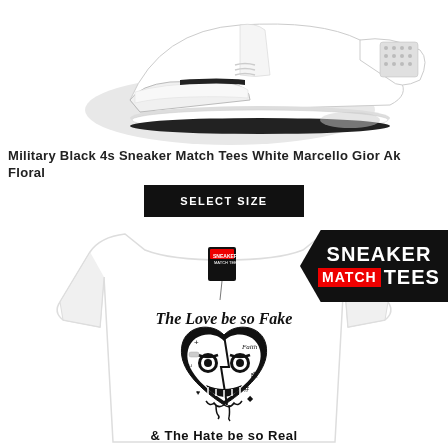[Figure (photo): White and black Nike Air Jordan 4 sneaker on white background, top portion cropped]
Military Black 4s Sneaker Match Tees White Marcello Gior Ak Floral
SELECT SIZE
[Figure (photo): White graphic t-shirt with 'The Love be so Fake & The Hate be so Real' design featuring a cartoon angry heart face with tattoo-style art. Sneaker Match Tees badge in top right corner.]